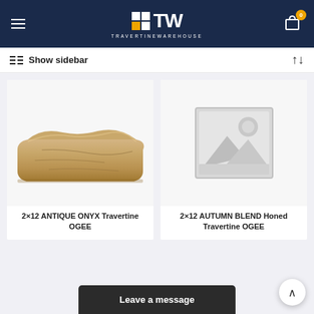Travertine Warehouse - navigation header with logo and cart
Show sidebar
[Figure (photo): 2x12 ANTIQUE ONYX Travertine OGEE tile product image - a beige/brown decorative molding tile with ogee profile]
2×12 ANTIQUE ONYX Travertine OGEE
[Figure (photo): Placeholder image with mountain/landscape icon - no product image available]
2×12 AUTUMN BLEND Honed Travertine OGEE
Leave a message